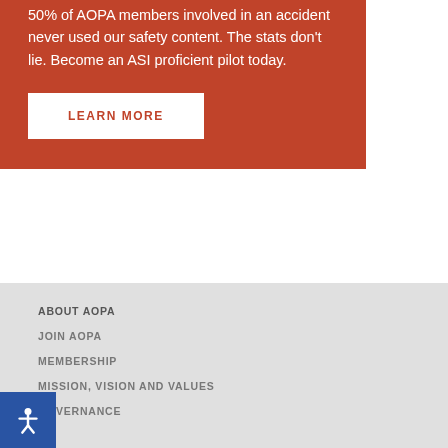50% of AOPA members involved in an accident never used our safety content. The stats don't lie. Become an ASI proficient pilot today.
LEARN MORE
ABOUT AOPA
JOIN AOPA
MEMBERSHIP
MISSION, VISION AND VALUES
GOVERNANCE